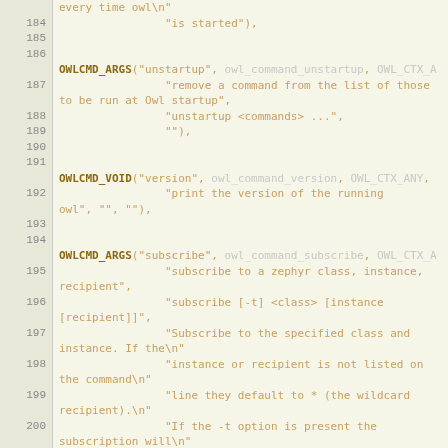[Figure (screenshot): Source code listing showing C code with line numbers 183-203, featuring OWLCMD_ARGS and OWLCMD_VOID macro calls for owl command definitions including unstartup, version, and subscribe commands.]